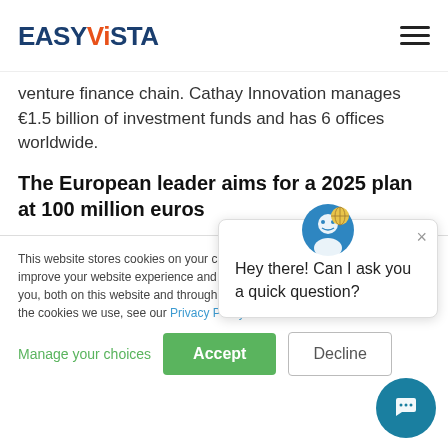EASYVISTA
venture finance chain. Cathay Innovation manages €1.5 billion of investment funds and has 6 offices worldwide.
The European leader aims for a 2025 plan at 100 million euros
EasyVista, which has been named in the Gartner Magic Quadrant for ITSM tools for 9 years running, now aims to double its
This website stores cookies on your computer. These cookies are used to improve your website experience and provide more personalized services to you, both on this website and through other media. To find out more about the cookies we use, see our Privacy Policy.
Hey there! Can I ask you a quick question?